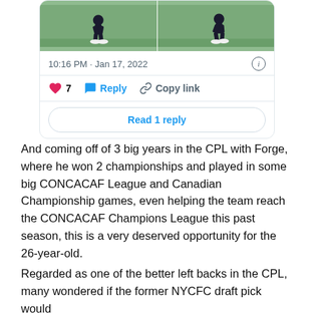[Figure (screenshot): Tweet card showing two soccer player images side by side, timestamp 10:16 PM · Jan 17, 2022, with 7 likes, Reply, Copy link actions, and a 'Read 1 reply' button]
And coming off of 3 big years in the CPL with Forge, where he won 2 championships and played in some big CONCACAF League and Canadian Championship games, even helping the team reach the CONCACAF Champions League this past season, this is a very deserved opportunity for the 26-year-old.
Regarded as one of the better left backs in the CPL, many wondered if the former NYCFC draft pick would